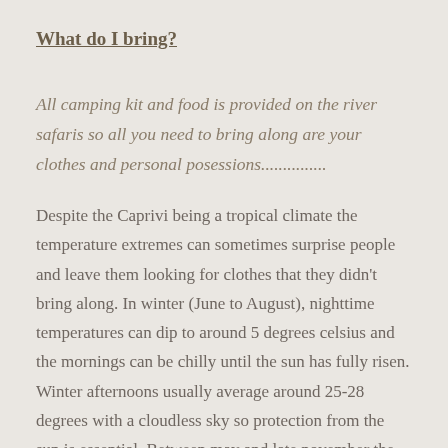What do I bring?
All camping kit and food is provided on the river safaris so all you need to bring along are your clothes and personal posessions...............
Despite the Caprivi being a tropical climate the temperature extremes can sometimes surprise people and leave them looking for clothes that they didn't bring along. In winter (June to August), nighttime temperatures can dip to around 5 degrees celsius and the mornings can be chilly until the sun has fully risen. Winter afternoons usually average around 25-28 degrees with a cloudless sky so protection from the sun is essential. Between may and late november the chances of rainfall is also not...